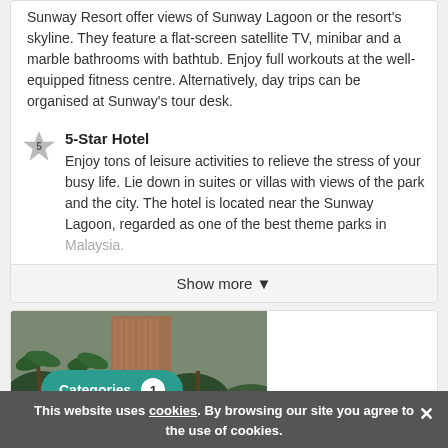Sunway Resort offer views of Sunway Lagoon or the resort's skyline. They feature a flat-screen satellite TV, minibar and a marble bathrooms with bathtub. Enjoy full workouts at the well-equipped fitness centre. Alternatively, day trips can be organised at Sunway's tour desk.
5-Star Hotel
Enjoy tons of leisure activities to relieve the stress of your busy life. Lie down in suites or villas with views of the park and the city. The hotel is located near the Sunway Lagoon, regarded as one of the best theme parks in Malaysia.
Show more ▾
[Figure (photo): Hotel exterior with palm trees and tall building facade, partially visible]
Categories 1
This website uses cookies. By browsing our site you agree to the use of cookies.